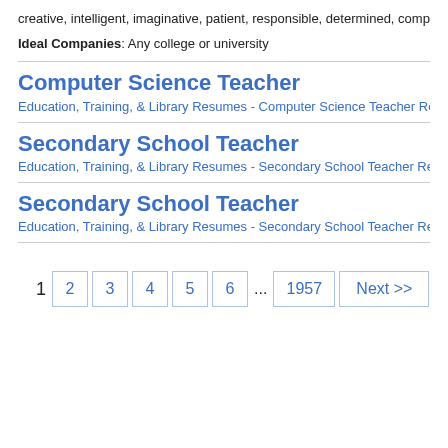creative, intelligent, imaginative, patient, responsible, determined, compassionate
Ideal Companies: Any college or university
Computer Science Teacher
Education, Training, & Library Resumes - Computer Science Teacher Resumes -
Secondary School Teacher
Education, Training, & Library Resumes - Secondary School Teacher Resumes -
Secondary School Teacher
Education, Training, & Library Resumes - Secondary School Teacher Resumes -
1  2  3  4  5  6  ...  1957  Next >>